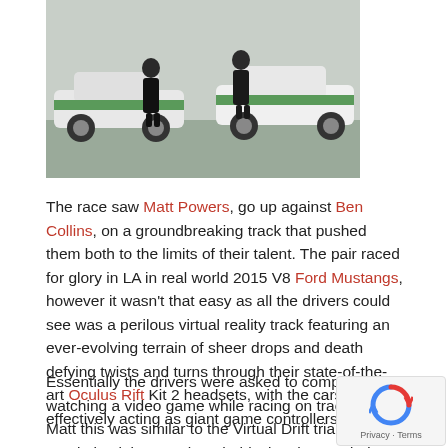[Figure (photo): Two people in black clothing standing in front of two white and green Ford Mustangs in a parking area]
The race saw Matt Powers, go up against Ben Collins, on a groundbreaking track that pushed them both to the limits of their talent. The pair raced for glory in LA in real world 2015 V8 Ford Mustangs, however it wasn't that easy as all the drivers could see was a perilous virtual reality track featuring an ever-evolving terrain of sheer drops and death defying twists and turns through their state-of-the-art Oculus Rift Kit 2 headsets, with the cars effectively acting as giant game controllers.
Essentially the drivers were asked to compete watching a video game while racing on track. For Matt this was similar to the Virtual Drift trial he took part in back in May, though this time he needed to pit his skills against "The Stig".